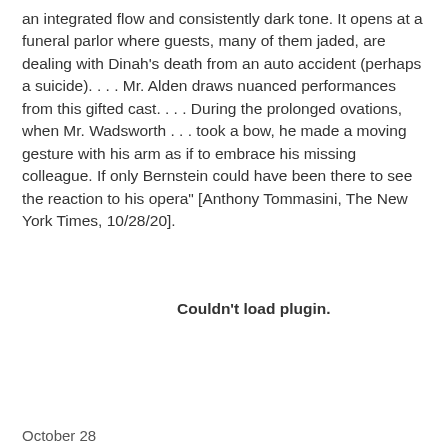an integrated flow and consistently dark tone. It opens at a funeral parlor where guests, many of them jaded, are dealing with Dinah's death from an auto accident (perhaps a suicide). . . . Mr. Alden draws nuanced performances from this gifted cast. . . . During the prolonged ovations, when Mr. Wadsworth . . . took a bow, he made a moving gesture with his arm as if to embrace his missing colleague. If only Bernstein could have been there to see the reaction to his opera" [Anthony Tommasini, The New York Times, 10/28/20].
Couldn't load plugin.
October 28